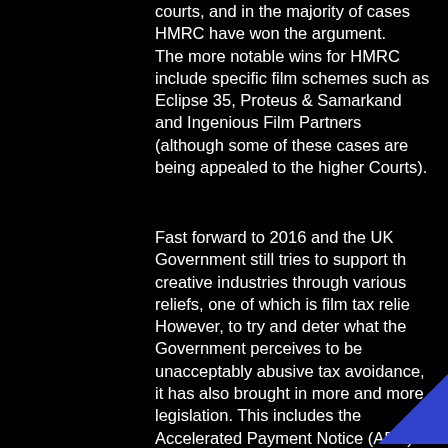courts, and in the majority of cases HMRC have won the argument. The more notable wins for HMRC include specific film schemes such as Eclipse 35, Proteus & Samarkand and Ingenious Film Partners (although some of these cases are being appealed to the higher Courts).
Fast forward to 2016 and the UK Government still tries to support the creative industries through various reliefs, one of which is film tax relief. However, to try and deter what the Government perceives to be unacceptably abusive tax avoidance, it has also brought in more and more legislation. This includes the Accelerated Payment Notice (APN) and Follower Notice (FN) regimes
in 2014 which allow HMRC to demand payment of the tax it considers is owing from taxpayers even before the matter
[Figure (other): Blue square menu/hamburger icon with three horizontal white lines]
[Figure (other): Blue triangle pointing upward at bottom right corner]